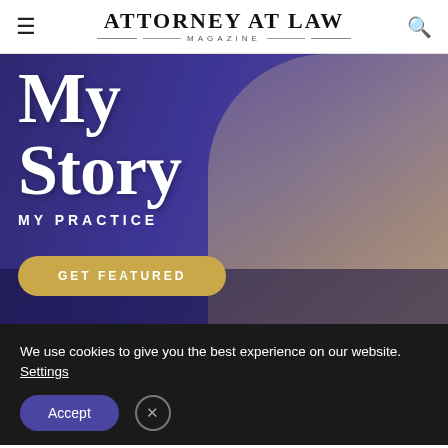ATTORNEY AT LAW MAGAZINE
[Figure (photo): Attorney at Law Magazine banner ad featuring a professional woman seated at a desk in a blue-tinted office setting. Text reads 'My Story', 'MY PRACTICE', and a gold 'GET FEATURED' button.]
We use cookies to give you the best experience on our website. Settings
Accept